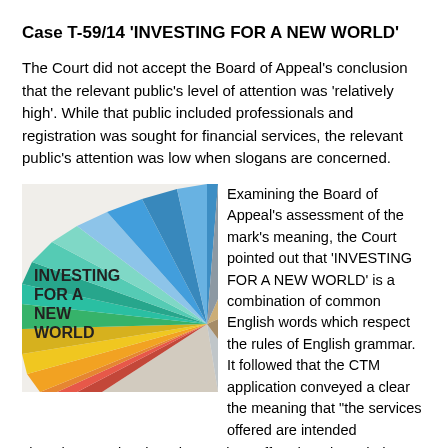Case T-59/14 'INVESTING FOR A NEW WORLD'
The Court did not accept the Board of Appeal's conclusion that the relevant public's level of attention was 'relatively high'. While that public included professionals and registration was sought for financial services, the relevant public's attention was low when slogans are concerned.
[Figure (illustration): Trademark logo for 'INVESTING FOR A NEW WORLD' showing bold text on the left and a fan of colorful geometric triangular shapes radiating outward to the right on a light beige background.]
Examining the Board of Appeal's assessment of the mark's meaning, the Court pointed out that 'INVESTING FOR A NEW WORLD' is a combination of common English words which respect the rules of English grammar. It followed that the CTM application conveyed a clear the meaning that "the services offered are intended
clear the meaning that "the services offered are intended